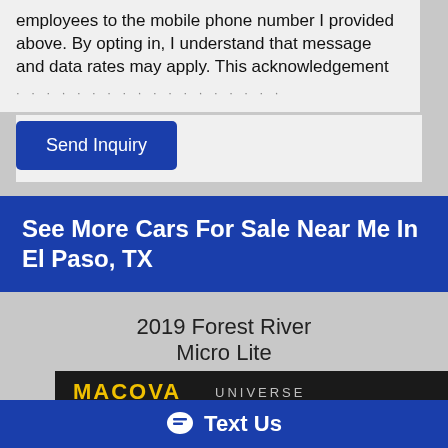employees to the mobile phone number I provided above. By opting in, I understand that message and data rates may apply. This acknowledgement
Send Inquiry
See More Cars For Sale Near Me In El Paso, TX
2019 Forest River Micro Lite
[Figure (photo): Photo of a 2019 Forest River Micro Lite RV trailer parked in a dealership lot. A Macova banner is visible at the top of the image. The trailer is white with dark graphic accents and the word MICRO is visible on the side.]
Text Us